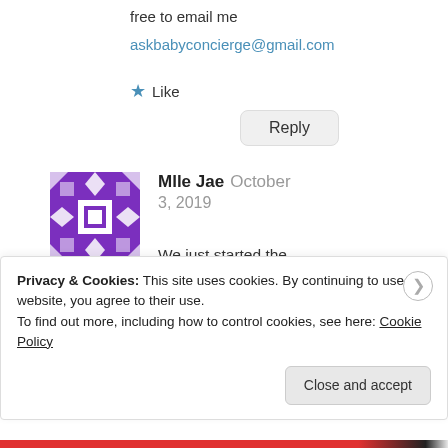free to email me
askbabyconcierge@gmail.com
★ Like
Reply
[Figure (illustration): Purple and white geometric avatar with diamond and square pattern]
Mlle Jae October 3, 2019
We just started the program last week and got the day time 4 hour feeds down pretty easily
Privacy & Cookies: This site uses cookies. By continuing to use this website, you agree to their use.
To find out more, including how to control cookies, see here: Cookie Policy
Close and accept